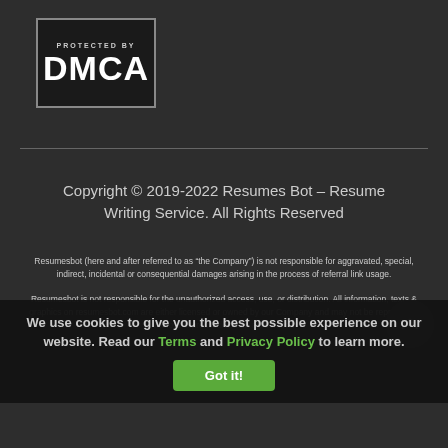[Figure (logo): DMCA Protected By badge — dark background with border, 'Protected By' text above large bold 'DMCA' lettering]
Copyright © 2019-2022 Resumes Bot – Resume Writing Service. All Rights Reserved
Resumesbot (here and after referred to as "the Company") is not responsible for aggravated, special, indirect, incidental or consequential damages arising in the process of referral link usage. Resumesbot is not responsible for the unauthorized access, use, or distribution. All information, texts & graphics on resumesbot.com are either licensed or owned by our Company and may not be reproduced without expressed/written agreement.
We use cookies to give you the best possible experience on our website. Read our Terms and Privacy Policy to learn more.
Got it!